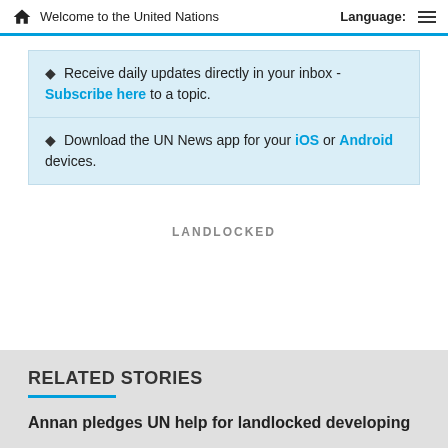Welcome to the United Nations — Language:
Receive daily updates directly in your inbox - Subscribe here to a topic.
Download the UN News app for your iOS or Android devices.
LANDLOCKED
RELATED STORIES
Annan pledges UN help for landlocked developing